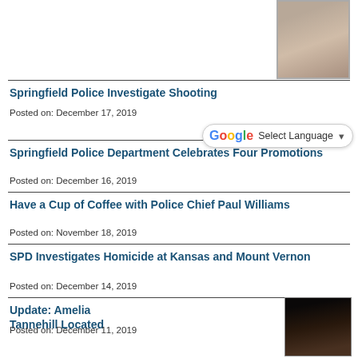[Figure (photo): Small portrait photo of a person, top-right corner]
Springfield Police Investigate Shooting
Posted on: December 17, 2019
[Figure (screenshot): Google Translate 'Select Language' dropdown widget with G logo and dropdown arrow]
Springfield Police Department Celebrates Four Promotions
Posted on: December 16, 2019
Have a Cup of Coffee with Police Chief Paul Williams
Posted on: November 18, 2019
SPD Investigates Homicide at Kansas and Mount Vernon
Posted on: December 14, 2019
Update: Amelia Tannehill Located
Posted on: December 11, 2019
[Figure (photo): Small portrait photo of a person, bottom-right corner]